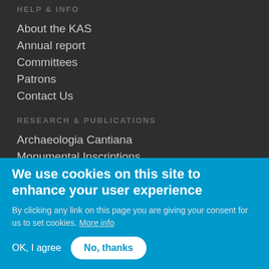HELP & INFO
About the KAS
Annual report
Committees
Patrons
Contact Us
RESEARCH & PUBLICATIONS
Archaeologia Cantiana
Monumental Inscriptions
Tithes
We use cookies on this site to enhance your user experience
By clicking any link on this page you are giving your consent for us to set cookies. More info
OK, I agree
No, thanks